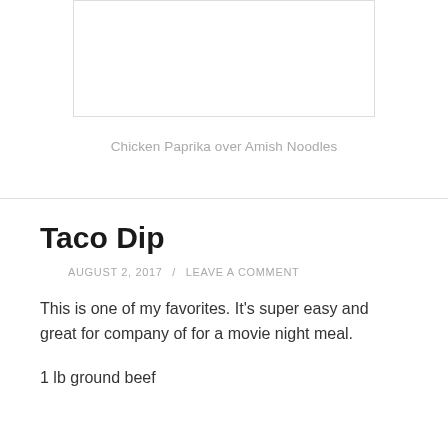[Figure (photo): Placeholder image box for Chicken Paprika over Amish Noodles]
Chicken Paprika over Amish Noodles
Taco Dip
AUGUST 2, 2017 / LEAVE A COMMENT
This is one of my favorites.  It's super easy and great for company of for a movie night meal.
1 lb ground beef